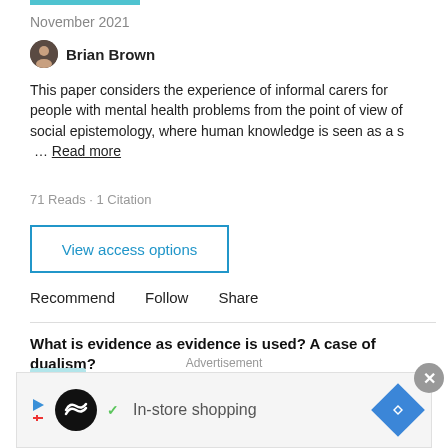November 2021
Brian Brown
This paper considers the experience of informal carers for people with mental health problems from the point of view of social epistemology, where human knowledge is seen as a s … Read more
71 Reads · 1 Citation
View access options
Recommend   Follow   Share
What is evidence as evidence is used? A case of dualism?
Article
November 2021
Andrew Neil Fletcher
How 'evidence' is conceptualised, generated and deployed in meso-level policy implementation on the ground is critical to health
Advertisement